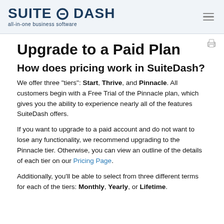SUITEDASH all-in-one business software
Upgrade to a Paid Plan
How does pricing work in SuiteDash?
We offer three "tiers": Start, Thrive, and Pinnacle. All customers begin with a Free Trial of the Pinnacle plan, which gives you the ability to experience nearly all of the features SuiteDash offers.
If you want to upgrade to a paid account and do not want to lose any functionality, we recommend upgrading to the Pinnacle tier. Otherwise, you can view an outline of the details of each tier on our Pricing Page.
Additionally, you'll be able to select from three different terms for each of the tiers: Monthly, Yearly, or Lifetime.